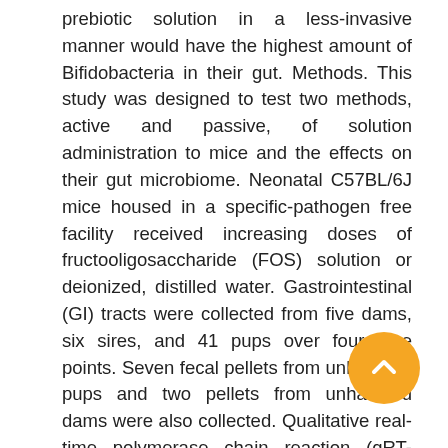prebiotic solution in a less-invasive manner would have the highest amount of Bifidobacteria in their gut. Methods. This study was designed to test two methods, active and passive, of solution administration to mice and the effects on their gut microbiome. Neonatal C57BL/6J mice housed in a specific-pathogen free facility received increasing doses of fructooligosaccharide (FOS) solution or deionized, distilled water. Gastrointestinal (GI) tracts were collected from five dams, six sires, and 41 pups over four time points. Seven fecal pellets from unhandled pups and two pellets from unhandled dams were also collected. Qualitative real-time polymerase chain reaction (qRT-PCR) was used to quantify and compare the amount of Bifidobacterium, Bacteroides, Bacteroidetes, and Firmicutes. Results. Our results demonstrate a significant difference between the amount of Firmicutes in pups receiving water passively and those receiving FOS actively (p-value = 0.009). Additionally, we found significant differences between the fecal microbiota from handled and non-handled mouse pups. Discussion. From our results, we conclude even handling pups for experimental purposes, without gavage, may induce stress to alter the murine gut microbiota profile. We suggest further studies to examine potential stress effects on gut microbiota caused by experimental techniques. Stress from